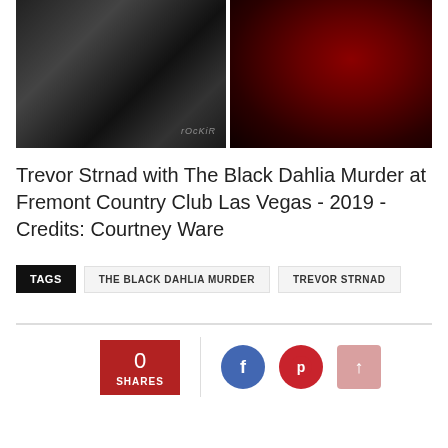[Figure (photo): Two concert photos side by side: left is black and white photo of a performer with tattoos, right is a red-lit photo of a performer in red outfit]
Trevor Strnad with The Black Dahlia Murder at Fremont Country Club Las Vegas - 2019 - Credits: Courtney Ware
TAGS  THE BLACK DAHLIA MURDER  TREVOR STRNAD
[Figure (infographic): Social share bar showing 0 SHARES in red box, Facebook icon, Pinterest icon, and up arrow button]